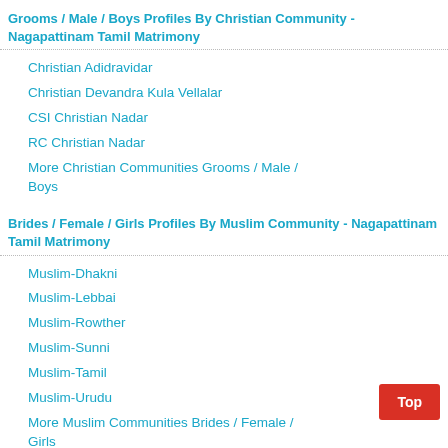Grooms / Male / Boys Profiles By Christian Community - Nagapattinam Tamil Matrimony
Christian Adidravidar
Christian Devandra Kula Vellalar
CSI Christian Nadar
RC Christian Nadar
More Christian Communities Grooms / Male / Boys
Brides / Female / Girls Profiles By Muslim Community - Nagapattinam Tamil Matrimony
Muslim-Dhakni
Muslim-Lebbai
Muslim-Rowther
Muslim-Sunni
Muslim-Tamil
Muslim-Urudu
More Muslim Communities Brides / Female / Girls
Grooms / Male / Boys Profiles By Muslim Community - Nagapattinam Tamil Matrimony